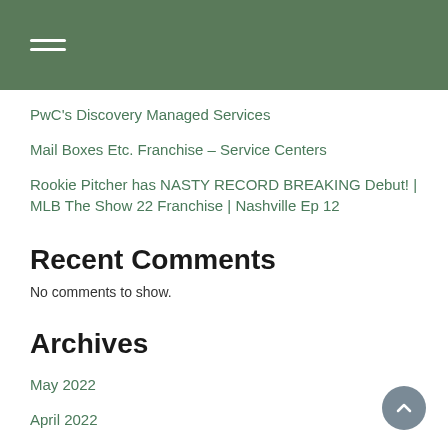PwC's Discovery Managed Services
Mail Boxes Etc. Franchise – Service Centers
Rookie Pitcher has NASTY RECORD BREAKING Debut! | MLB The Show 22 Franchise | Nashville Ep 12
Recent Comments
No comments to show.
Archives
May 2022
April 2022